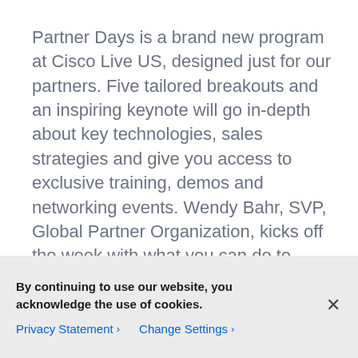Partner Days is a brand new program at Cisco Live US, designed just for our partners. Five tailored breakouts and an inspiring keynote will go in-depth about key technologies, sales strategies and give you access to exclusive training, demos and networking events. Wendy Bahr, SVP, Global Partner Organization, kicks off the week with what you can do to capture the digital opportunity. The custom sessions continue deep dives focusing on Digital Network Architecture, Next-Gen Cloud and Data Center, Sales Multiplier, Security and the Future of the Customer Experience. Take advantage of the following c...
By continuing to use our website, you acknowledge the use of cookies.
Privacy Statement > Change Settings >